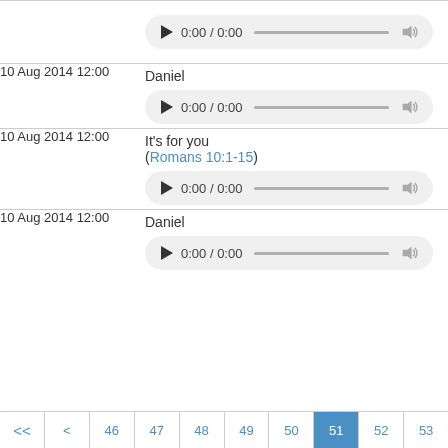| Date | Content |
| --- | --- |
|  | (audio player) 0:00 / 0:00 |
| 10 Aug 2014 12:00 | Daniel
(audio player) 0:00 / 0:00 |
| 10 Aug 2014 12:00 | It's for you (Romans 10:1-15)
(audio player) 0:00 / 0:00 |
| 10 Aug 2014 12:00 | Daniel
(audio player) 0:00 / 0:00 |
<< < 46 47 48 49 50 51 52 53